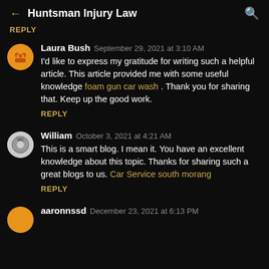Huntsman Injury Law
REPLY
Laura Bush  September 29, 2021 at 3:10 AM
I'd like to express my gratitude for writing such a helpful article. This article provided me with some useful knowledge foam gun car wash . Thank you for sharing that. Keep up the good work.
REPLY
William  October 3, 2021 at 4:21 AM
This is a smart blog. I mean it. You have an excellent knowledge about this topic. Thanks for sharing such a great blogs to us. Car Service south morang
REPLY
aaronnssd  December 23, 2021 at 6:13 PM